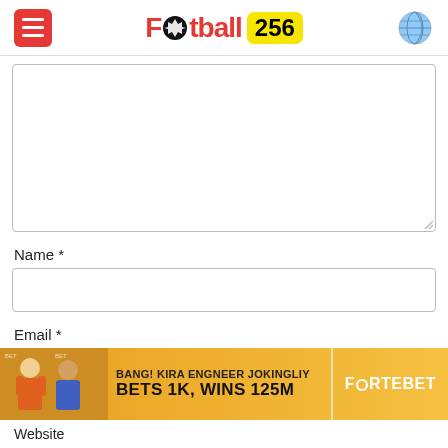Football 256
[Figure (screenshot): Comment form textarea (empty white box with resize handle)]
Name *
[Figure (screenshot): Name input field (empty white box)]
Email *
[Figure (screenshot): Email input field (partially visible)]
[Figure (infographic): ForteBet advertisement banner: BANG! KIRA ENGNEER JOKINGLIY BETS 1K, WINS 125M — FORTEBET]
Website